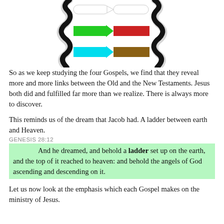[Figure (illustration): DNA-like ladder diagram with two vertical black curly/fuzzy strands and three horizontal arrow pairs: top white arrows, middle green arrow pointing right connected to red bar, bottom cyan arrow pointing right connected to brown bar. Set against white background.]
So as we keep studying the four Gospels, we find that they reveal more and more links between the Old and the New Testaments. Jesus both did and fulfilled far more than we realize. There is always more to discover.
This reminds us of the dream that Jacob had. A ladder between earth and Heaven.
GENESIS 28:12
And he dreamed, and behold a ladder set up on the earth, and the top of it reached to heaven: and behold the angels of God ascending and descending on it.
Let us now look at the emphasis which each Gospel makes on the ministry of Jesus.